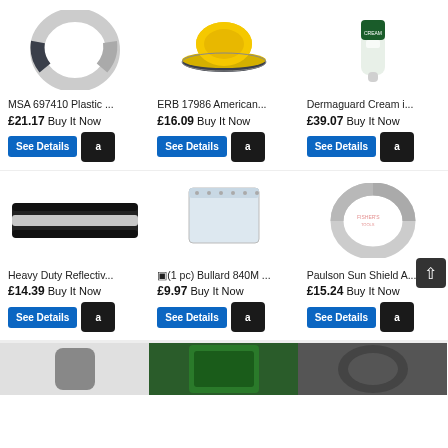[Figure (photo): MSA 697410 plastic hard hat brim accessory, ring-shaped, white and dark grey]
MSA 697410 Plastic ...
£21.17 Buy It Now
[Figure (photo): ERB 17986 American-style full brim hard hat in yellow]
ERB 17986 American...
£16.09 Buy It Now
[Figure (photo): Dermaguard Cream in a small dark green bottle]
Dermaguard Cream i...
£39.07 Buy It Now
[Figure (photo): Heavy duty reflective belt/strap, black with silver reflective stripe]
Heavy Duty Reflectiv...
£14.39 Buy It Now
[Figure (photo): 1 pc Bullard 840M face shield visor, clear/transparent curved shield]
🔲(1 pc) Bullard 840M ...
£9.97 Buy It Now
[Figure (photo): Paulson Sun Shield A, ring/brim style sun shade, grey, with Fisher's Tools watermark]
Paulson Sun Shield A....
£15.24 Buy It Now
[Figure (photo): Bottom partial image - grey item]
[Figure (photo): Bottom partial image - green item]
[Figure (photo): Bottom partial image - dark item]